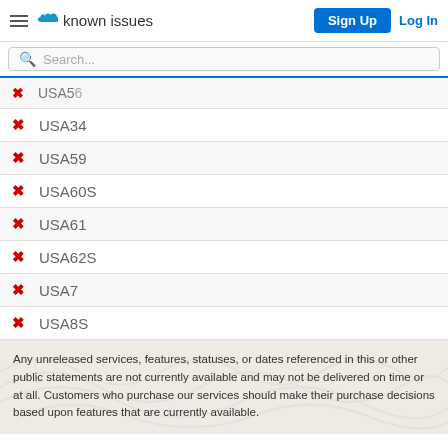known issues | Sign Up | Log In
USA56
USA34
USA59
USA60S
USA61
USA62S
USA7
USA8S
Any unreleased services, features, statuses, or dates referenced in this or other public statements are not currently available and may not be delivered on time or at all. Customers who purchase our services should make their purchase decisions based upon features that are currently available.
LINKS